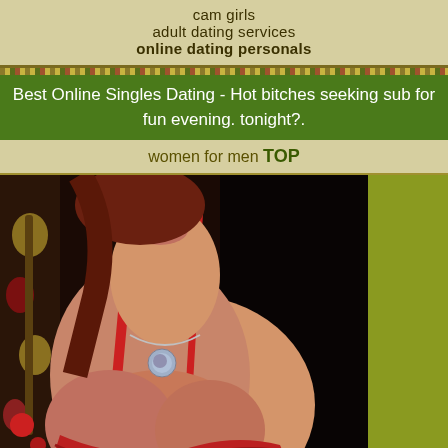cam girls
adult dating services
online dating personals
Best Online Singles Dating - Hot bitches seeking sub for fun evening. tonight?.
women for men TOP
[Figure (photo): Woman in red bikini top with necklace, partial face visible, indoor setting with decorative background]